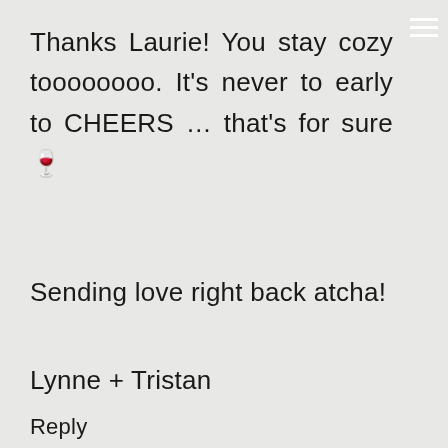Thanks Laurie! You stay cozy toooooooo. It's never to early to CHEERS … that's for sure 🍷
Sending love right back atcha!
Lynne + Tristan
Reply